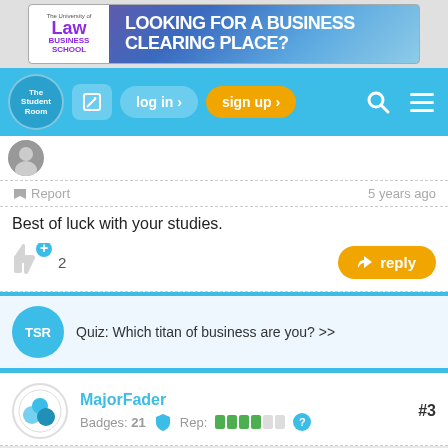[Figure (screenshot): University of Law Business School ad banner: LOOKING FOR A BUSINESS CLEARING PLACE?]
[Figure (screenshot): The Student Room navigation bar with logo, edit icon, log in, sign up, search, and menu buttons]
Report
5 years ago
Best of luck with your studies.
2
reply
FEEDBACK
Quiz: Which titan of business are you? >>
MajorFader
#3
Badges: 21
Rep: